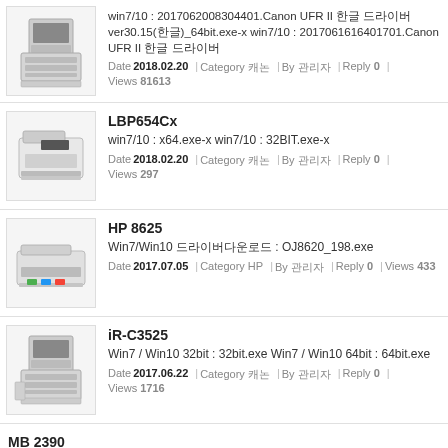win7/10 : 20170620083044​01.Canon UFR II 드라이버 설치파일 ver30.15(한글)_64bit.exe-x win7/10 : 20170616164017​01.Canon UFR II 드라이버 설치
win7/10 : x64.exe-x win7/10 : 32BIT.exe-x
Win7/Win10 드라이버다운로드 : OJ8620_198.exe
Win7 / Win10 32bit : 32bit.exe Win7 / Win10 64bit : 64bit.exe
Win7 /10 32/64 : 201603151032​5501.win-mb2300-1_1-mcd.exe